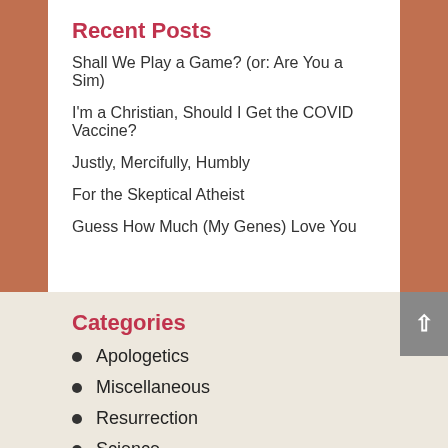Recent Posts
Shall We Play a Game? (or: Are You a Sim)
I'm a Christian, Should I Get the COVID Vaccine?
Justly, Mercifully, Humbly
For the Skeptical Atheist
Guess How Much (My Genes) Love You
Categories
Apologetics
Miscellaneous
Resurrection
Science
The Church